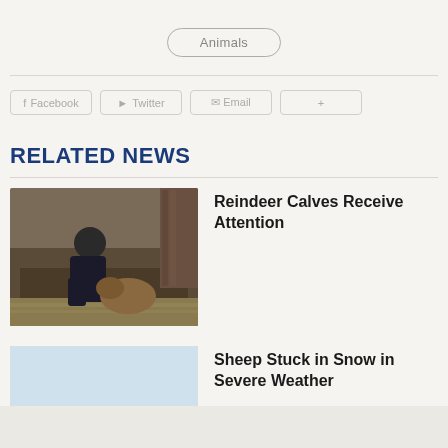Animals
[Figure (screenshot): Social share buttons: Facebook, Twitter, Email, and one more (partially visible)]
RELATED NEWS
[Figure (photo): Person crouching down feeding or tending to a reindeer calf on hay/straw ground, with a wooden structure behind]
Reindeer Calves Receive Attention
[Figure (photo): Sheep running through deep snow in severe winter weather conditions]
Sheep Stuck in Snow in Severe Weather